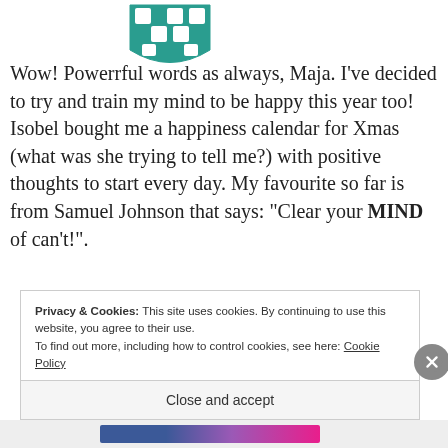[Figure (logo): Green and white checkered shield/crest logo partially visible at top center]
Wow! Powerrful words as always, Maja. I've decided to try and train my mind to be happy this year too! Isobel bought me a happiness calendar for Xmas (what was she trying to tell me?) with positive thoughts to start every day. My favourite so far is from Samuel Johnson that says: “Clear your MIND of can’t!”.
Privacy & Cookies: This site uses cookies. By continuing to use this website, you agree to their use.
To find out more, including how to control cookies, see here: Cookie Policy
Close and accept